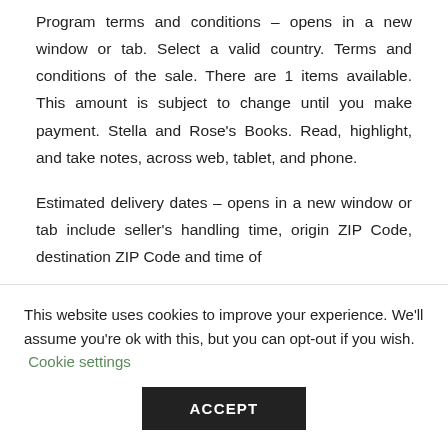Program terms and conditions – opens in a new window or tab. Select a valid country. Terms and conditions of the sale. There are 1 items available. This amount is subject to change until you make payment. Stella and Rose's Books. Read, highlight, and take notes, across web, tablet, and phone.
Estimated delivery dates – opens in a new window or tab include seller's handling time, origin ZIP Code, destination ZIP Code and time of
This website uses cookies to improve your experience. We'll assume you're ok with this, but you can opt-out if you wish. Cookie settings
ACCEPT